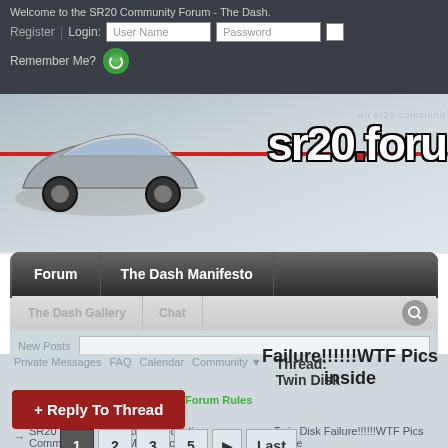Welcome to the SR20 Community Forum - The Dash.
Register | Login: [User Name] [Password] [ ] Remember Me?
[Figure (screenshot): SR20 forum banner with a race car and sr20.forum logo with red dot]
Forum | The Dash Manifesto | The Dash Gallery | Chat
New Posts | [search box]
Private Messages | FAQ | Calendar | Community ▼ | Forum Actions ▼ | Quick Links ▼ | Forum Rules | Thread: Twin Disk
→ SR20 Community → Forced Induction (Mechanical) → Twin Disk Failure!!!!!!WTF Pics inside
Failure!!!!!!WTF Pics inside
+ Reply To Thread
1 2 3 5 ▶ Last